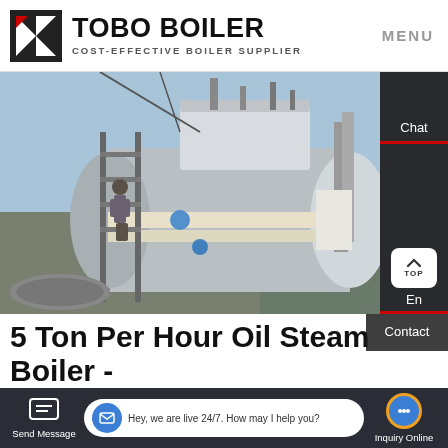TOBO BOILER — COST-EFFECTIVE BOILER SUPPLIER | MENU
[Figure (photo): Industrial steam boiler installation outdoors — a large horizontal cylindrical steel boiler with scaffolding, worker, pipes, and blue sky background]
5 Ton Per Hour Oil Steam Boiler - Horizontal Gas Boiler